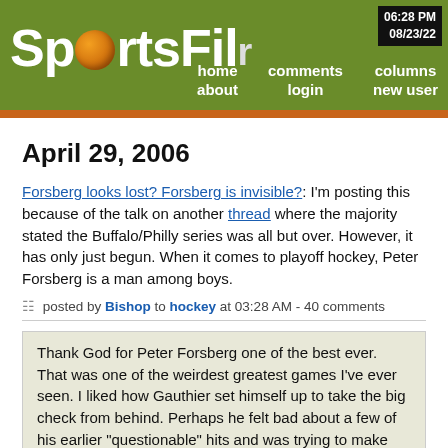SportsFil — 06:28 PM 08/23/22 — home about comments login columns new user
April 29, 2006
Forsberg looks lost? Forsberg is invisible?: I'm posting this because of the talk on another thread where the majority stated the Buffalo/Philly series was all but over. However, it has only just begun. When it comes to playoff hockey, Peter Forsberg is a man among boys.
posted by Bishop to hockey at 03:28 AM - 40 comments
Thank God for Peter Forsberg one of the best ever. That was one of the weirdest greatest games I've ever seen. I liked how Gauthier set himself up to take the big check from behind. Perhaps he felt bad about a few of his earlier "questionable" hits and was trying to make amends. And he drew a penalty. All Flyered-up baby!!
posted by GoBirds at 04:55 AM on April 29, 2006
Well, I for one shall stand corrected. I did not expect Forsberg to be anywhere close to 100%, either in body or in mind. When he is, he's as good as anyone alive. Of course he's a difference maker. And if Ryan Miller